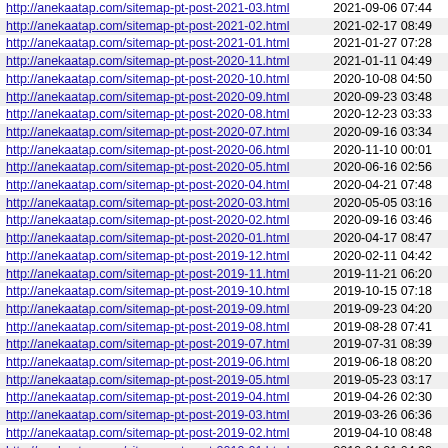| http://anekaatap.com/sitemap-pt-post-2021-03.html | 2021-09-06 07:44 |
| http://anekaatap.com/sitemap-pt-post-2021-02.html | 2021-02-17 08:49 |
| http://anekaatap.com/sitemap-pt-post-2021-01.html | 2021-01-27 07:28 |
| http://anekaatap.com/sitemap-pt-post-2020-11.html | 2021-01-11 04:49 |
| http://anekaatap.com/sitemap-pt-post-2020-10.html | 2020-10-08 04:50 |
| http://anekaatap.com/sitemap-pt-post-2020-09.html | 2020-09-23 03:48 |
| http://anekaatap.com/sitemap-pt-post-2020-08.html | 2020-12-23 03:33 |
| http://anekaatap.com/sitemap-pt-post-2020-07.html | 2020-09-16 03:34 |
| http://anekaatap.com/sitemap-pt-post-2020-06.html | 2020-11-10 00:01 |
| http://anekaatap.com/sitemap-pt-post-2020-05.html | 2020-06-16 02:56 |
| http://anekaatap.com/sitemap-pt-post-2020-04.html | 2020-04-21 07:48 |
| http://anekaatap.com/sitemap-pt-post-2020-03.html | 2020-05-05 03:16 |
| http://anekaatap.com/sitemap-pt-post-2020-02.html | 2020-09-16 03:46 |
| http://anekaatap.com/sitemap-pt-post-2020-01.html | 2020-04-17 08:47 |
| http://anekaatap.com/sitemap-pt-post-2019-12.html | 2020-02-11 04:42 |
| http://anekaatap.com/sitemap-pt-post-2019-11.html | 2019-11-21 06:20 |
| http://anekaatap.com/sitemap-pt-post-2019-10.html | 2019-10-15 07:18 |
| http://anekaatap.com/sitemap-pt-post-2019-09.html | 2019-09-23 04:20 |
| http://anekaatap.com/sitemap-pt-post-2019-08.html | 2019-08-28 07:41 |
| http://anekaatap.com/sitemap-pt-post-2019-07.html | 2019-07-31 08:39 |
| http://anekaatap.com/sitemap-pt-post-2019-06.html | 2019-06-18 08:20 |
| http://anekaatap.com/sitemap-pt-post-2019-05.html | 2019-05-23 03:17 |
| http://anekaatap.com/sitemap-pt-post-2019-04.html | 2019-04-26 02:30 |
| http://anekaatap.com/sitemap-pt-post-2019-03.html | 2019-03-26 06:36 |
| http://anekaatap.com/sitemap-pt-post-2019-02.html | 2019-04-10 08:48 |
| http://anekaatap.com/sitemap-pt-post-2019-01.html | 2019-04-01 04:32 |
| http://anekaatap.com/sitemap-pt-post-2018-12.html | 2019-03-26 04:04 |
| http://anekaatap.com/sitemap-pt-post-2018-11.html | 2018-11-30 04:39 |